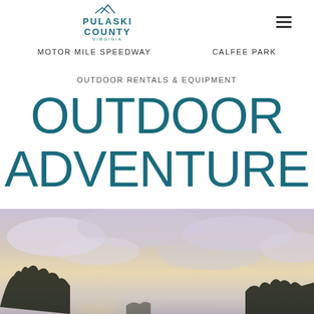Pulaski County Virginia
MOTOR MILE SPEEDWAY
CALFEE PARK
OUTDOOR RENTALS & EQUIPMENT
OUTDOOR ADVENTURE
[Figure (photo): Outdoor landscape photo showing a dramatic cloudy sky at sunset or sunrise with silhouetted trees along the bottom edge]